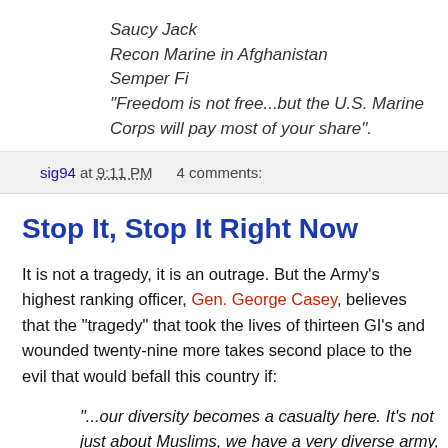Saucy Jack
Recon Marine in Afghanistan
Semper Fi
"Freedom is not free...but the U.S. Marine Corps will pay most of your share".
sig94 at 9:11 PM    4 comments:
Stop It, Stop It Right Now
It is not a tragedy, it is an outrage. But the Army's highest ranking officer, Gen. George Casey, believes that the "tragedy" that took the lives of thirteen GI's and wounded twenty-nine more takes second place to the evil that would befall this country if:
"...our diversity becomes a casualty here. It's not just about Muslims, we have a very diverse army, we have very diverse society and that gives us all